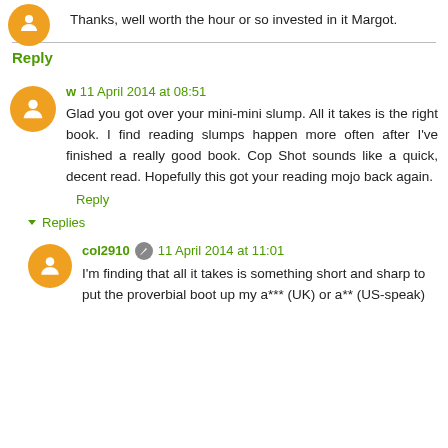Thanks, well worth the hour or so invested in it Margot.
Reply
w 11 April 2014 at 08:51
Glad you got over your mini-mini slump. All it takes is the right book. I find reading slumps happen more often after I've finished a really good book. Cop Shot sounds like a quick, decent read. Hopefully this got your reading mojo back again.
Reply
▼ Replies
col2910 11 April 2014 at 11:01
I'm finding that all it takes is something short and sharp to put the proverbial boot up my a*** (UK) or a** (US-speak)